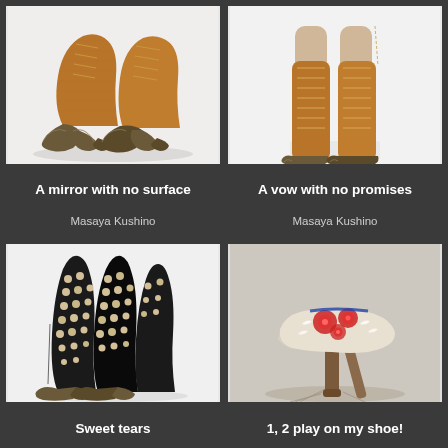[Figure (photo): Two brown leather ankle boots with ornate dark bronze claw-like heels, photographed on white background]
[Figure (photo): Close-up of brown leather lace-up boots worn by legs with bronze claw-like toes, on white pedestal]
A mirror with no surface
A vow with no promises
Masaya Kushino
Masaya Kushino
[Figure (photo): Tall black leather boots covered with pearl-like studs and bronze claw heels, photographed on white background]
[Figure (photo): Ornate shoe with floral beadwork in red and white on wooden sculptural heel/stand, photographed on grey background]
Sweet tears
1, 2 play on my shoe!